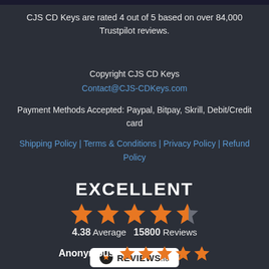CJS CD Keys are rated 4 out of 5 based on over 84,000 Trustpilot reviews.
Copyright CJS CD Keys
Contact@CJS-CDKeys.com
Payment Methods Accepted: Paypal, Bitpay, Skrill, Debit/Credit card
Shipping Policy | Terms & Conditions | Privacy Policy | Refund Policy
[Figure (infographic): EXCELLENT rating with 4.5 orange stars, 4.38 Average 15800 Reviews, REVIEWS.io badge]
Anonymous ★★★★★